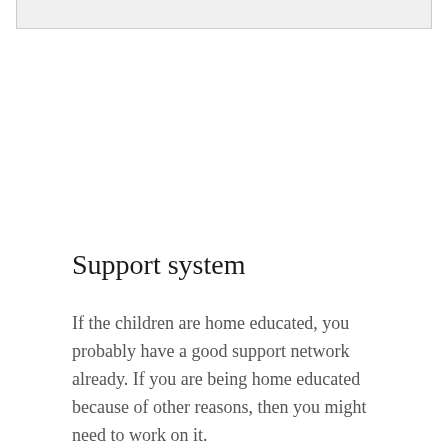[Figure (photo): Partial image visible at the top of the page, cropped]
Support system
If the children are home educated, you probably have a good support network already. If you are being home educated because of other reasons, then you might need to work on it.